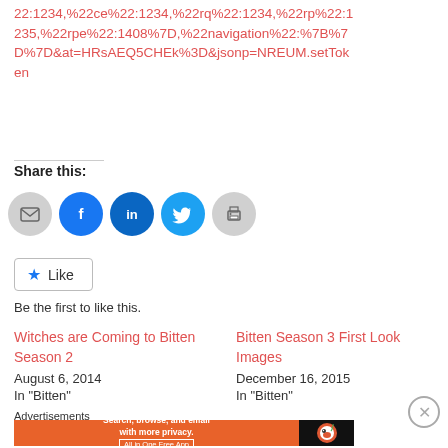22:1234,%22ce%22:1234,%22rq%22:1234,%22rp%22:1235,%22rpe%22:1408%7D,%22navigation%22:%7B%7D%7D&at=HRsAEQ5CHEk%3D&jsonp=NREUM.setToken
Share this:
[Figure (infographic): Social sharing icons: email (gray circle), Facebook (blue circle), LinkedIn (blue circle), Twitter (cyan circle), Print (gray circle)]
[Figure (infographic): Like button with star icon and text 'Like']
Be the first to like this.
Witches are Coming to Bitten Season 2
August 6, 2014
In "Bitten"
Bitten Season 3 First Look Images
December 16, 2015
In "Bitten"
Advertisements
[Figure (infographic): DuckDuckGo advertisement banner: orange background with text 'Search, browse, and email with more privacy. All in One Free App' and DuckDuckGo logo on dark background]